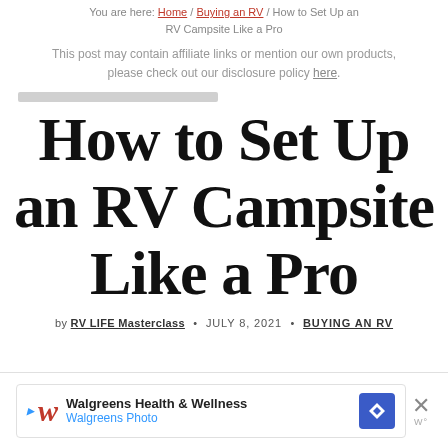You are here: Home / Buying an RV / How to Set Up an RV Campsite Like a Pro
This post may contain affiliate links or mention our own products, please check out our disclosure policy here.
How to Set Up an RV Campsite Like a Pro
by RV LIFE Masterclass · JULY 8, 2021 · BUYING AN RV
[Figure (screenshot): Walgreens Health & Wellness / Walgreens Photo advertisement banner with logo, navigation icon, and close button]